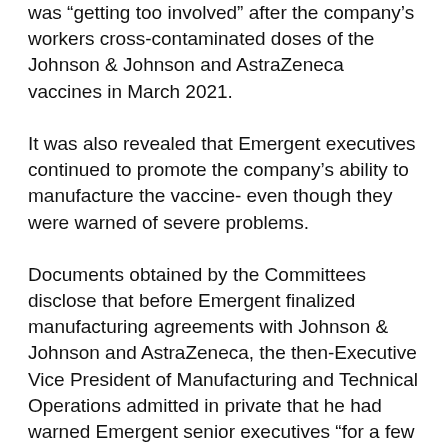was “getting too involved” after the company’s workers cross-contaminated doses of the Johnson & Johnson and AstraZeneca vaccines in March 2021.
It was also revealed that Emergent executives continued to promote the company’s ability to manufacture the vaccine- even though they were warned of severe problems.
Documents obtained by the Committees disclose that before Emergent finalized manufacturing agreements with Johnson & Johnson and AstraZeneca, the then-Executive Vice President of Manufacturing and Technical Operations admitted in private that he had warned Emergent senior executives “for a few